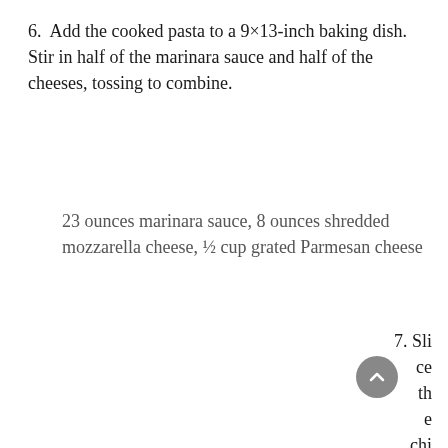6. Add the cooked pasta to a 9×13-inch baking dish. Stir in half of the marinara sauce and half of the cheeses, tossing to combine.
23 ounces marinara sauce, 8 ounces shredded mozzarella cheese, ½ cup grated Parmesan cheese
7. Slice the chicken into